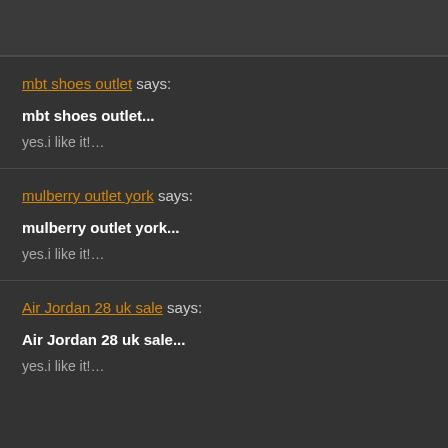mbt shoes outlet says:
mbt shoes outlet...
yes.i like it!...
mulberry outlet york says:
mulberry outlet york...
yes.i like it!...
Air Jordan 28 uk sale says:
Air Jordan 28 uk sale...
yes.i like it!...